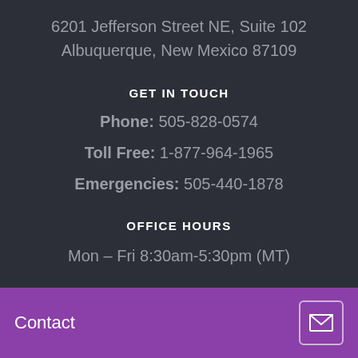6201 Jefferson Street NE, Suite 102
Albuquerque, New Mexico 87109
GET IN TOUCH
Phone: 505-828-0574
Toll Free: 1-877-964-1965
Emergencies: 505-440-1878
OFFICE HOURS
Mon – Fri 8:30am-5:30pm (MT)
Sun – Closed
Contact